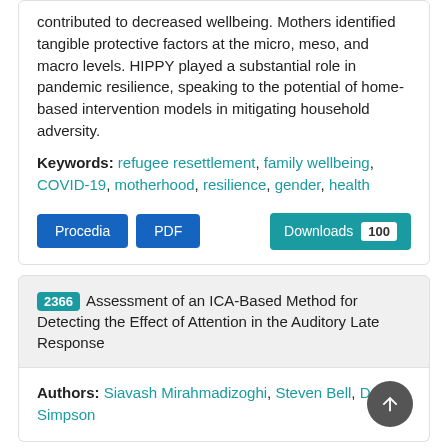contributed to decreased wellbeing. Mothers identified tangible protective factors at the micro, meso, and macro levels. HIPPY played a substantial role in pandemic resilience, speaking to the potential of home-based intervention models in mitigating household adversity.
Keywords: refugee resettlement, family wellbeing, COVID-19, motherhood, resilience, gender, health
Procedia | PDF | Downloads 100
2366 Assessment of an ICA-Based Method for Detecting the Effect of Attention in the Auditory Late Response
Authors: Siavash Mirahmadizoghi, Steven Bell, David Simpson